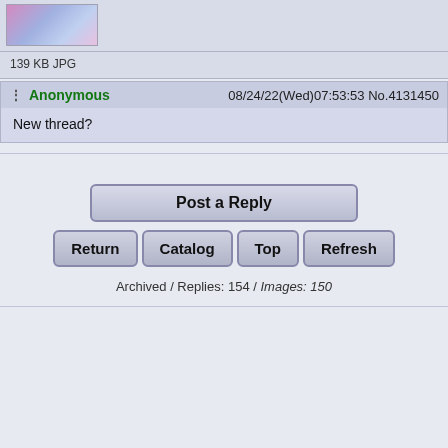[Figure (photo): Thumbnail image, partially visible, colorful anime-style art]
139 KB JPG
Anonymous  08/24/22(Wed)07:53:53 No.4131450
New thread?
Post a Reply
Return
Catalog
Top
Refresh
Archived / Replies: 154 / Images: 150